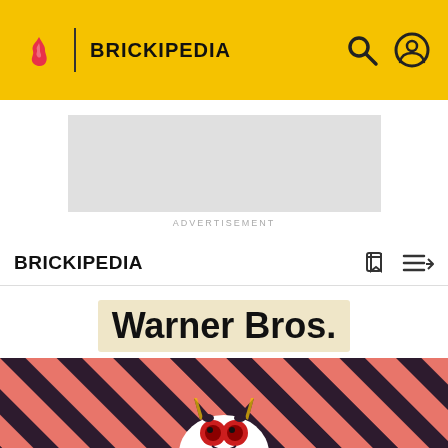BRICKIPEDIA
[Figure (other): Advertisement placeholder (gray rectangle)]
ADVERTISEMENT
BRICKIPEDIA
Warner Bros.
[Figure (illustration): Diagonal pink and dark navy striped background with a cartoon monster/bat creature character with red eyes and horns at the bottom center]